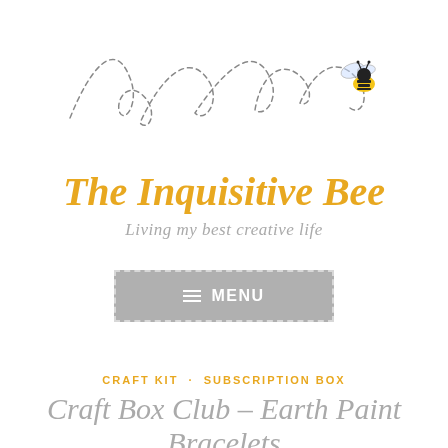[Figure (illustration): Decorative dashed-line bee flight path with loops and curls, ending with a cartoon bumblebee (yellow and black) at the right side.]
The Inquisitive Bee
Living my best creative life
[Figure (other): Gray rectangular menu button with dashed white border, hamburger icon and text MENU in white.]
CRAFT KIT · SUBSCRIPTION BOX
Craft Box Club – Earth Paint Bracelets